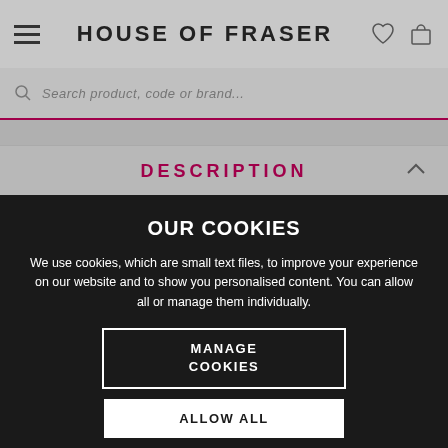HOUSE OF FRASER
Search product, code or brand...
DESCRIPTION
OUR COOKIES
We use cookies, which are small text files, to improve your experience on our website and to show you personalised content. You can allow all or manage them individually.
MANAGE COOKIES
ALLOW ALL